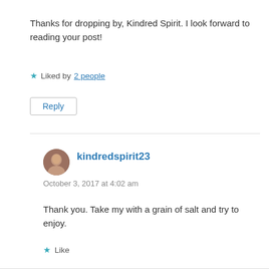Thanks for dropping by, Kindred Spirit. I look forward to reading your post!
★ Liked by 2 people
Reply
kindredspirit23
October 3, 2017 at 4:02 am
Thank you. Take my with a grain of salt and try to enjoy.
★ Like